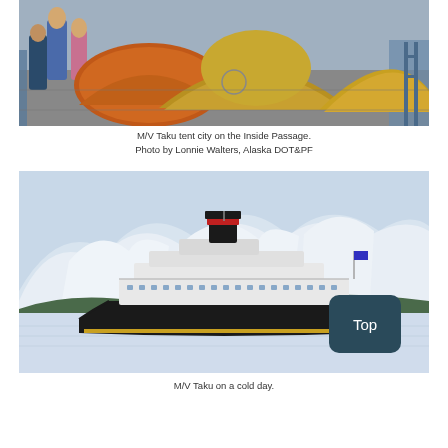[Figure (photo): M/V Taku tent city on the Inside Passage — multiple yellow and orange tents set up on the deck of a ferry, with passengers walking among them.]
M/V Taku tent city on the Inside Passage.
Photo by Lonnie Walters, Alaska DOT&PF
[Figure (photo): M/V Taku on a cold day — ferry ship sailing in calm water with snow-covered mountains in the background and a 'Top' navigation button overlaid in the bottom-right corner.]
M/V Taku on a cold day.